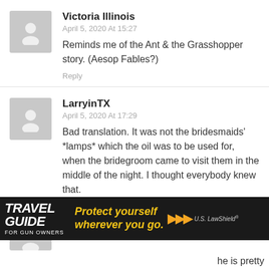Victoria Illinois
April 5, 2020 At 15:27
Reminds me of the Ant & the Grasshopper story. (Aesop Fables?)
Reply
LarryinTX
April 5, 2020 At 17:29
Bad translation. It was not the bridesmaids' *lamps* which the oil was to be used for, when the bridegroom came to visit them in the middle of the night. I thought everybody knew that.
Reply
Defens
[Figure (photo): Travel Guide for Gun Owners advertisement banner: dark background with text 'TRAVEL GUIDE FOR GUN OWNERS', tagline 'Protect yourself wherever you go.' with arrow graphics and U.S. LawShield logo]
he is pretty